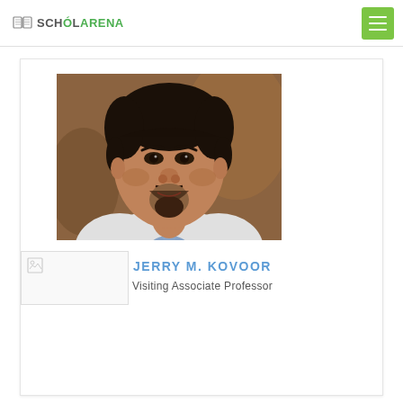SCHOLARENA
[Figure (photo): Portrait photograph of Jerry M. Kovoor, a man with dark hair and goatee beard wearing a white shirt]
[Figure (photo): Small broken image icon placeholder]
JERRY M. KOVOOR
Visiting Associate Professor